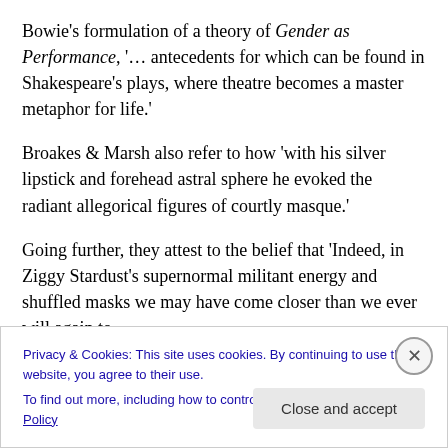Bowie's formulation of a theory of Gender as Performance, '… antecedents for which can be found in Shakespeare's plays, where theatre becomes a master metaphor for life.'
Broakes & Marsh also refer to how 'with his silver lipstick and forehead astral sphere he evoked the radiant allegorical figures of courtly masque.'
Going further, they attest to the belief that 'Indeed, in Ziggy Stardust's supernormal militant energy and shuffled masks we may have come closer than we ever will again to …
Privacy & Cookies: This site uses cookies. By continuing to use this website, you agree to their use.
To find out more, including how to control cookies, see here: Cookie Policy